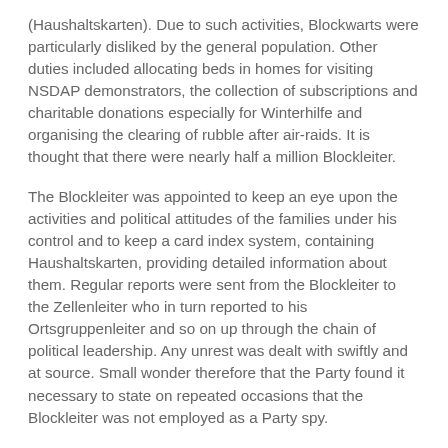(Haushaltskarten). Due to such activities, Blockwarts were particularly disliked by the general population. Other duties included allocating beds in homes for visiting NSDAP demonstrators, the collection of subscriptions and charitable donations especially for Winterhilfe and organising the clearing of rubble after air-raids. It is thought that there were nearly half a million Blockleiter.
The Blockleiter was appointed to keep an eye upon the activities and political attitudes of the families under his control and to keep a card index system, containing Haushaltskarten, providing detailed information about them. Regular reports were sent from the Blockleiter to the Zellenleiter who in turn reported to his Ortsgruppenleiter and so on up through the chain of political leadership. Any unrest was dealt with swiftly and at source. Small wonder therefore that the Party found it necessary to state on repeated occasions that the Blockleiter was not employed as a Party spy.
Today, Blockwart is a colloquial German insult word for a person who feels the motivation to keep people in line, esp.